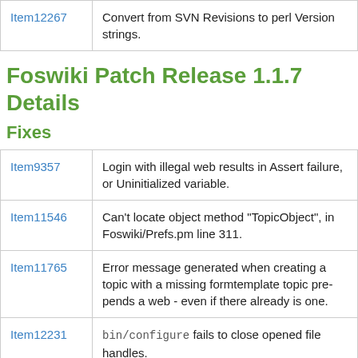| Item | Description |
| --- | --- |
| Item12267 | Convert from SVN Revisions to perl Version strings. |
Foswiki Patch Release 1.1.7 Details
Fixes
| Item | Description |
| --- | --- |
| Item9357 | Login with illegal web results in Assert failure, or Uninitialized variable. |
| Item11546 | Can't locate object method "TopicObject", in Foswiki/Prefs.pm line 311. |
| Item11765 | Error message generated when creating a topic with a missing formtemplate topic pre-pends a web - even if there already is one. |
| Item12231 | bin/configure fails to close opened file handles. |
| Item12271 | Conditional dependency (ONLYIF option) is too |